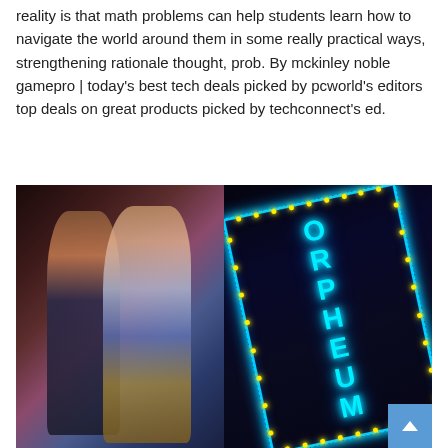reality is that math problems can help students learn how to navigate the world around them in some really practical ways, strengthening rationale thought, prob. By mckinley noble gamepro | today's best tech deals picked by pcworld's editors top deals on great products picked by techconnect's ed.
[Figure (photo): Left half: two young people at a concert, facing each other near a microphone, stage lighting in red/blue tones. Right half: neon sign reading ORPHEUM in bright blue letters with yellow dot border lights against a dark night sky background.]